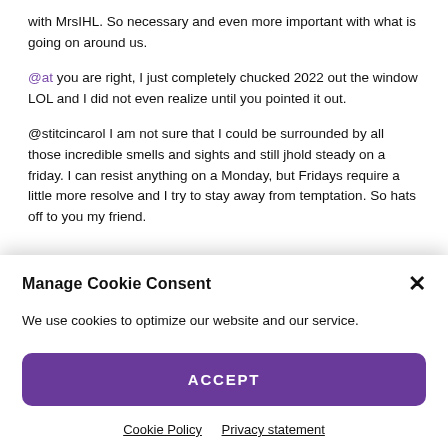with MrsIHL. So necessary and even more important with what is going on around us.
@at you are right, I just completely chucked 2022 out the window LOL and I did not even realize until you pointed it out.
@stitcincarol I am not sure that I could be surrounded by all those incredible smells and sights and still jhold steady on a friday. I can resist anything on a Monday, but Fridays require a little more resolve and I try to stay away from temptation. So hats off to you my friend.
Manage Cookie Consent
We use cookies to optimize our website and our service.
ACCEPT
Cookie Policy   Privacy statement